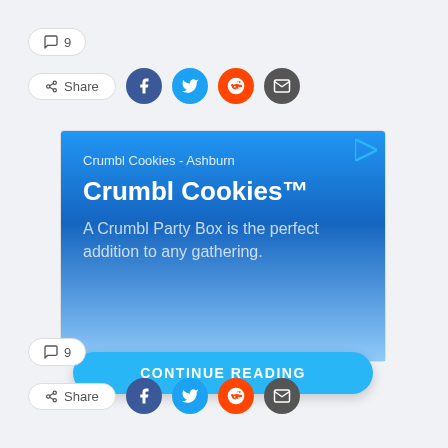💬 9
< Share
[Figure (screenshot): Crumbl Cookies advertisement banner with blue gradient background. Title: 'Crumbl Cookies™'. Subtitle: 'A Crumbl Party Box is the perfect addition to any gathering.' Sponsored by 'Crumbl Cookies - Ashburn'. Has a 'CONTINUE READING' button below.]
💬 9
< Share